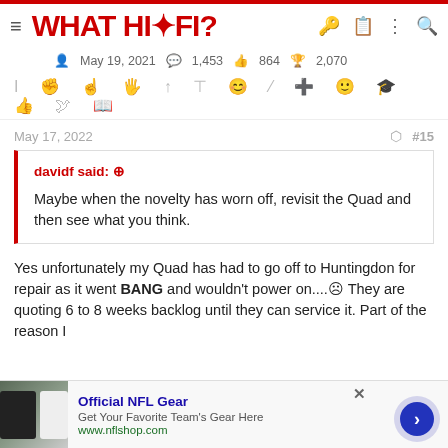WHAT HI-FI?
May 19, 2021   1,453   864   2,070
May 17, 2022   #15
davidf said: ↑

Maybe when the novelty has worn off, revisit the Quad and then see what you think.
Yes unfortunately my Quad has had to go off to Huntingdon for repair as it went BANG and wouldn't power on....☹ They are quoting 6 to 8 weeks backlog until they can service it. Part of the reason I
Official NFL Gear
Get Your Favorite Team's Gear Here
www.nflshop.com